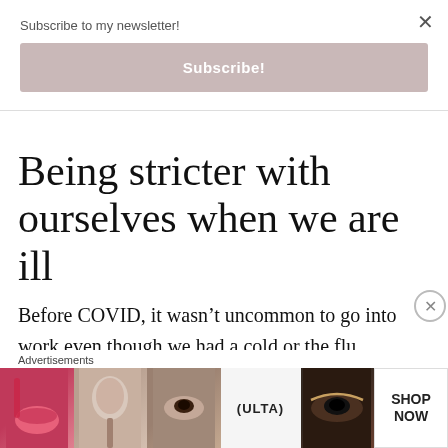Subscribe to my newsletter!
Subscribe!
Being stricter with ourselves when we are ill
Before COVID, it wasn't uncommon to go into work even though we had a cold or the flu. Probably infecting multiple people on our commutes and whilst at work itself. And even with our social liv
Advertisements
[Figure (photo): Advertisement banner showing makeup and beauty products with ULTA logo and SHOP NOW text]